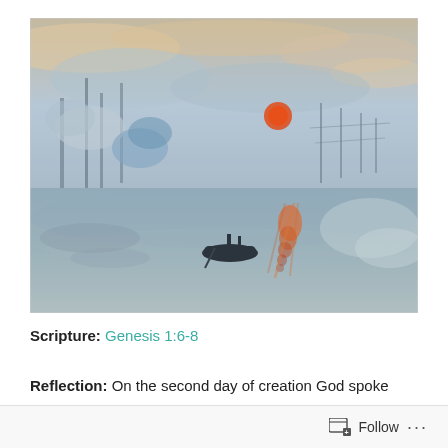[Figure (illustration): Monet's 'Impression, Sunrise' painting — a harbor scene at dawn with ships, masts, small rowboat with silhouetted figures in foreground, orange-red sun reflecting on water, misty blue-grey tones, orange and peach sky with streaks of clouds.]
Scripture: Genesis 1:6-8
Reflection: On the second day of creation God spoke
Follow ...